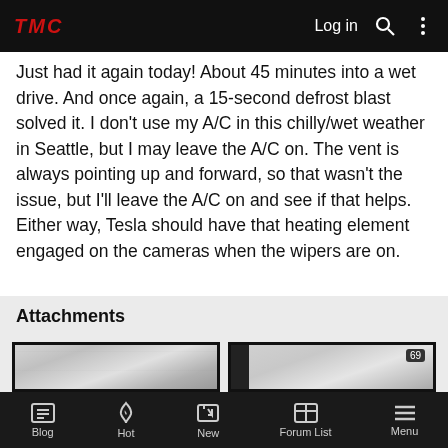TMC  Log in
Just had it again today! About 45 minutes into a wet drive. And once again, a 15-second defrost blast solved it. I don't use my A/C in this chilly/wet weather in Seattle, but I may leave the A/C on. The vent is always pointing up and forward, so that wasn't the issue, but I'll leave the A/C on and see if that helps. Either way, Tesla should have that heating element engaged on the cameras when the wipers are on.
Attachments
[Figure (photo): Two blurry screenshots of a Tesla navigation screen]
Blog  Hot  New  Forum List  Menu